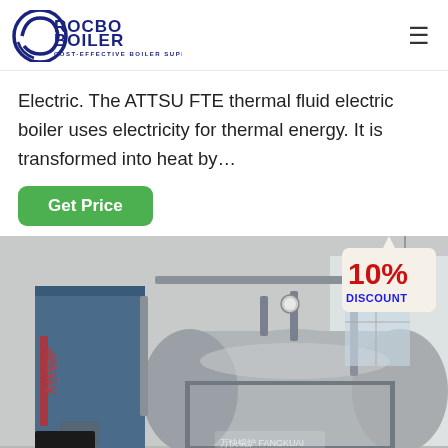ROCBO BOILER - COST-EFFECTIVE BOILER SUPPLIER
Electric. The ATTSU FTE thermal fluid electric boiler uses electricity for thermal energy. It is transformed into heat by…
Get Price
[Figure (photo): Industrial boiler room with large cylindrical steam/thermal fluid boilers on a metal frame, blue cabinet on the left with red Chinese branding, white industrial building interior. A 10% DISCOUNT tag is overlaid in the top right corner.]